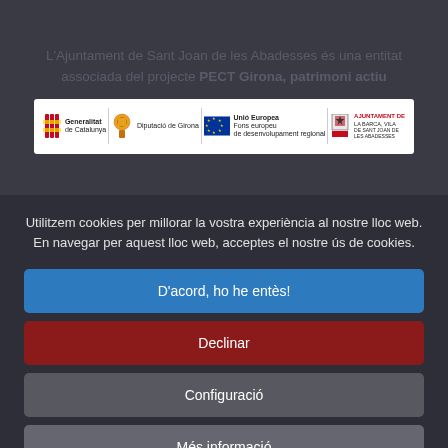L'Ajuntament de Sant Joan de les Abadesses és una entitat associada del projecte PECT Girona, patrimoni actiu
[Figure (logo): Logo bar with Generalitat de Catalunya, Diputació de Girona, Unió Europea Fons europeu de desenvolupament regional, and Ajuntament de la Barca Vila de Sant Joan de les Abadesses]
Utilitzem cookies per millorar la vostra experiència al nostre lloc web. En navegar per aquest lloc web, acceptes el nostre ús de cookies.
D'acord, ho he entès!
Declinar
Configuració
Més informació